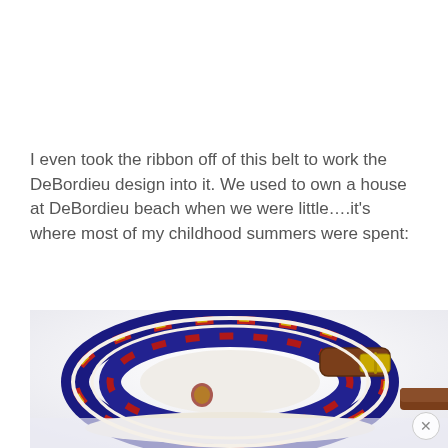I even took the ribbon off of this belt to work the DeBordieu design into it. We used to own a house at DeBordieu beach when we were little….it's where most of my childhood summers were spent:
[Figure (photo): Close-up photo of a rolled navy blue ribbon belt with red and gold stripe pattern, brown leather buckle with gold hardware, on a white background. The belt shows a DeBordieu design. A semi-transparent panel with reflection is visible at the bottom.]